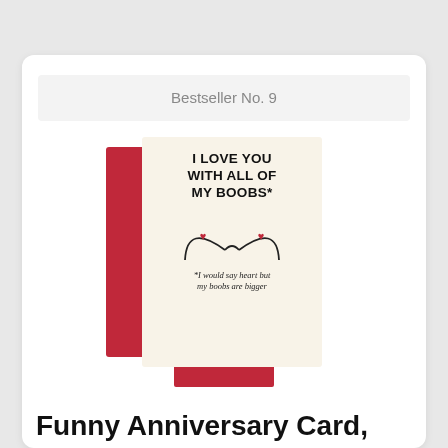Bestseller No. 9
[Figure (photo): A funny greeting card with cream/beige background showing bold text 'I LOVE YOU WITH ALL OF MY BOOBS*' with a line drawing of boobs with red hearts, and italic text '*I would say heart but my boobs are bigger', placed on top of a red envelope/card.]
Funny Anniversary Card,